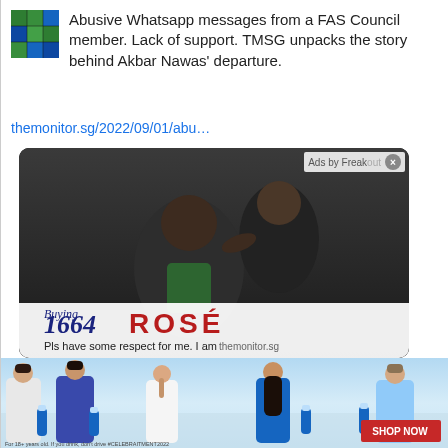[Figure (illustration): Small mosaic/stained glass style thumbnail icon in green and blue]
Abusive Whatsapp messages from a FAS Council member. Lack of support. TMSG unpacks the story behind Akbar Nawas' departure.
themonitor.sg/2022/09/01/abu…
[Figure (photo): Screenshot of article page showing two people in a sports/coaching scenario. Overlaid with an ad showing '1664 ROSÉ' branding in blue italic and red bold text. Text reads 'Pls have some respect for me. I am' at the bottom. 'Ads by Freakout' label with close button in top right.]
[Figure (photo): Beer advertisement showing a group of young adults socializing outdoors holding blue beer bottles. 'SHOP NOW' red button in bottom right. Small disclaimer text at bottom left.]